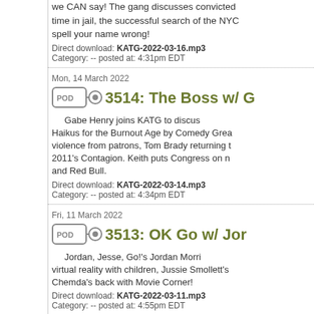we CAN say! The gang discusses convicted... time in jail, the successful search of the NYC... spell your name wrong!
Direct download: KATG-2022-03-16.mp3
Category: -- posted at: 4:31pm EDT
Mon, 14 March 2022
3514: The Boss w/ G
Gabe Henry joins KATG to discus... Haikus for the Burnout Age by Comedy Grea... violence from patrons, Tom Brady returning t... 2011's Contagion. Keith puts Congress on n... and Red Bull.
Direct download: KATG-2022-03-14.mp3
Category: -- posted at: 4:34pm EDT
Fri, 11 March 2022
3513: OK Go w/ Jor
Jordan, Jesse, Go!'s Jordan Morri... virtual reality with children, Jussie Smollett's... Chemda's back with Movie Corner!
Direct download: KATG-2022-03-11.mp3
Category: -- posted at: 4:55pm EDT
Wed, 9 March 2022
3512: The Times Th
Jack Helmuth joins Keith and Che... exploration into 2022 veganism, and The Fla... book as well as the music on Saturday Not-s...
Direct download: KATG-2022-03-09.mp3
Category: -- posted at: 4:48pm EDT
Mon, 7 March 2022